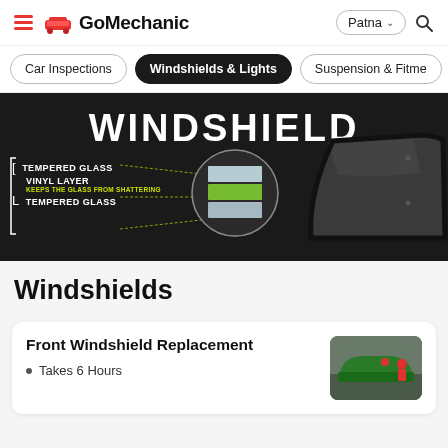GoMechanic — Patna
Car Inspections | Windshields & Lights | Suspension & Fitme...
[Figure (infographic): Windshield infographic on dark background showing layers: Tempered Glass, Vinyl Layer (keeps the glass from shattering), Tempered Glass, with a circular cross-section diagram and a 3D windshield image on the right.]
Windshields
Front Windshield Replacement
Takes 6 Hours